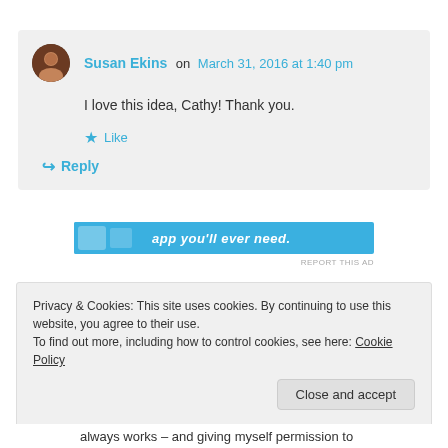Susan Ekins on March 31, 2016 at 1:40 pm
I love this idea, Cathy! Thank you.
Like
Reply
[Figure (screenshot): Blue advertisement banner with text 'app you'll ever need.']
REPORT THIS AD
Privacy & Cookies: This site uses cookies. By continuing to use this website, you agree to their use.
To find out more, including how to control cookies, see here: Cookie Policy
Close and accept
always works – and giving myself permission to